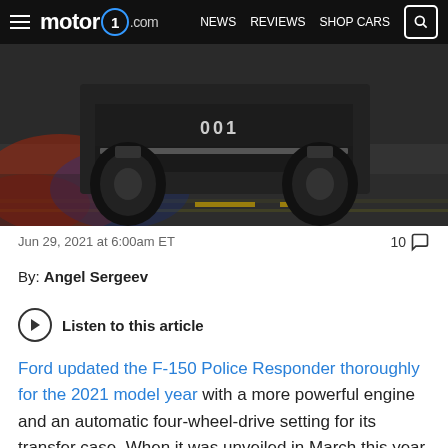motor1.com  NEWS  REVIEWS  SHOP CARS
[Figure (photo): Rear close-up of a Ford F-150 Police Responder truck with the number 001 on the tailgate, on a wet road surface with police lights reflecting in red and blue.]
Jun 29, 2021 at 6:00am ET
10 comments
By: Angel Sergeev
Listen to this article
Ford updated the F-150 Police Responder thoroughly for the 2021 model year with a more powerful engine and an automatic four-wheel-drive setting for its transfer case. When it was unveiled in March this year, the automaker said the pursuit-ready truck now has a higher top speed of 120 miles per hour (197 kilometers